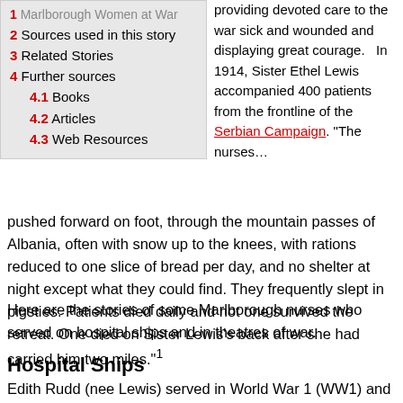1 Marlborough Women at War
2 Sources used in this story
3 Related Stories
4 Further sources
4.1 Books
4.2 Articles
4.3 Web Resources
providing devoted care to the war sick and wounded and displaying great courage.   In 1914, Sister Ethel Lewis accompanied 400 patients from the frontline of the Serbian Campaign. “The nurses… pushed forward on foot, through the mountain passes of Albania, often with snow up to the knees, with rations reduced to one slice of bread per day, and no shelter at night except what they could find. They frequently slept in pigsties. Patients died daily and not one survived the retreat. One died on Sister Lewis’s back after she had carried him two miles.”¹
Here are the stories of some Marlborough nurses who served on hospital ships and in theatres of war.
Hospital Ships
Edith Rudd (nee Lewis) served in World War 1 (WW1) and World War 2 (WW2) and was matron of Wairau Hospital for 20